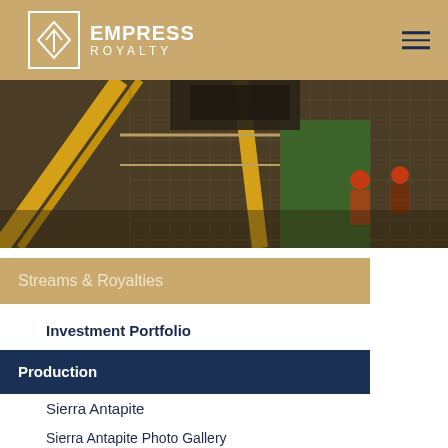EMPRESS ROYALTY
[Figure (photo): Industrial mining facility interior showing yellow metal staircases, grated walkways, machinery and workers in safety gear with orange helmets]
Streams & Royalties
Investment Portfolio
Production
Sierra Antapite
Sierra Antapite Photo Gallery